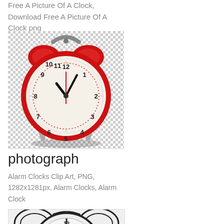Free A Picture Of A Clock, Download Free A Picture Of A Clock png
[Figure (illustration): Red alarm clock with two bells on top, on a checkered transparent background]
photograph
Alarm Clocks Clip Art, PNG, 1282x1281px, Alarm Clocks, Alarm Clock
[Figure (illustration): Black and white outline drawing of an alarm clock, partially visible at bottom of page]